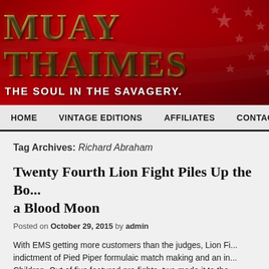[Figure (screenshot): Muay Thaimes website header banner with red and dark red background with stars, showing site title 'MUAY THAIMES' in gold metallic letters and tagline 'THE SOUL IN THE SAVAGERY.']
HOME  VINTAGE EDITIONS  AFFILIATES  CONTACT
Tag Archives: Richard Abraham
Twenty Fourth Lion Fight Piles Up the Bo... a Blood Moon
Posted on October 29, 2015 by admin
With EMS getting more customers than the judges, Lion Fi... indictment of Pied Piper formulaic match making and an in... Children. Out of five featured pro fights, two made it to the...